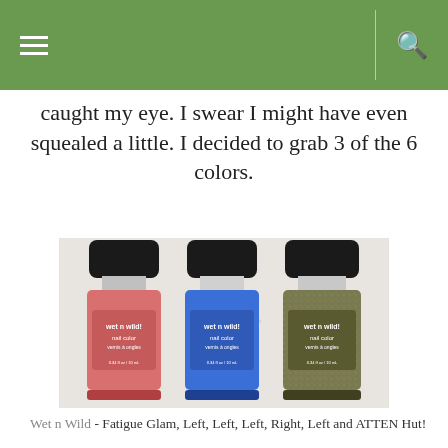[Navigation menu icon] [Search icon]
caught my eye. I swear I might have even squealed a little. I decided to grab 3 of the 6 colors.
[Figure (photo): Three Wet n Wild nail color bottles with black caps: a pink/coral one on the left, a blue one in the center, and an olive/glitter one on the right. Each bottle is labeled 'wet n wild nail color vernis à ongles 0.34 fl oz/10 mL'.]
Wet n Wild - Fatigue Glam, Left, Left, Left, Right, Left and ATTEN Hut!